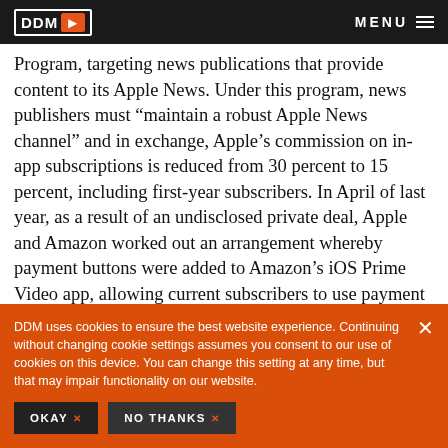DDM > MENU
Program, targeting news publications that provide content to its Apple News. Under this program, news publishers must “maintain a robust Apple News channel” and in exchange, Apple’s commission on in-app subscriptions is reduced from 30 percent to 15 percent, including first-year subscribers. In April of last year, as a result of an undisclosed private deal, Apple and Amazon worked out an arrangement whereby payment buttons were added to Amazon’s iOS Prime Video app, allowing current subscribers to use payment methods tied to their Amazon account while new subscribers were routed through the App Store. Amazon fully integrated Apple TV
DDM uses cookies to ensure the best website experience. Continuing without changing cookie settings assumes you consent to our use of cookies on this device. You can change this setting at any time, but that may impair functionality on our website.
OKAY ×   NO THANKS ×